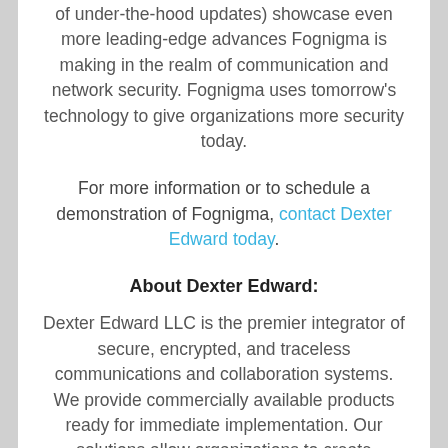of under-the-hood updates) showcase even more leading-edge advances Fognigma is making in the realm of communication and network security. Fognigma uses tomorrow's technology to give organizations more security today.
For more information or to schedule a demonstration of Fognigma, contact Dexter Edward today.
About Dexter Edward:
Dexter Edward LLC is the premier integrator of secure, encrypted, and traceless communications and collaboration systems. We provide commercially available products ready for immediate implementation. Our solutions allow organizations to create